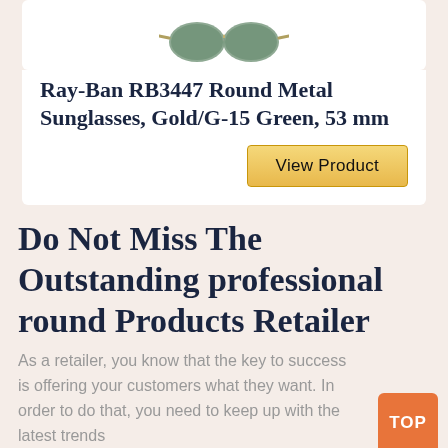[Figure (photo): Partial view of Ray-Ban round metal sunglasses in gold/green at top of product card]
Ray-Ban RB3447 Round Metal Sunglasses, Gold/G-15 Green, 53 mm
View Product
Do Not Miss The Outstanding professional round Products Retailer
As a retailer, you know that the key to success is offering your customers what they want. In order to do that, you need to keep up with the latest trends